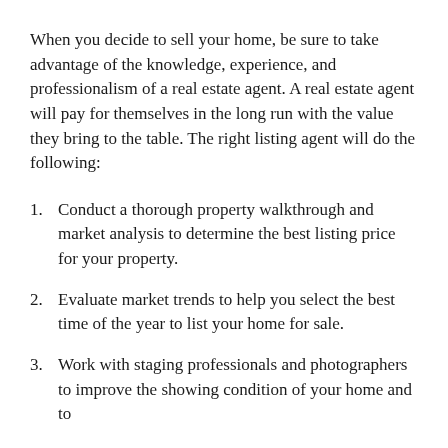When you decide to sell your home, be sure to take advantage of the knowledge, experience, and professionalism of a real estate agent. A real estate agent will pay for themselves in the long run with the value they bring to the table. The right listing agent will do the following:
Conduct a thorough property walkthrough and market analysis to determine the best listing price for your property.
Evaluate market trends to help you select the best time of the year to list your home for sale.
Work with staging professionals and photographers to improve the showing condition of your home and to